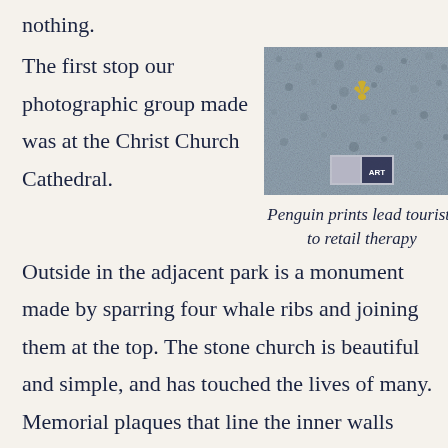nothing.
The first stop our photographic group made was at the Christ Church Cathedral.
[Figure (photo): Close-up photo of a stone or gravel surface with a small yellow bird footprint/penguin print visible, and a small retail logo/sign in the lower center area.]
Penguin prints lead tourists to retail therapy
Outside in the adjacent park is a monument made by sparring four whale ribs and joining them at the top. The stone church is beautiful and simple, and has touched the lives of many. Memorial plaques that line the inner walls attest this for the saving or loss of whalers, frontiersman, explorers and soldiers.
After the church we walked along the waterfront,